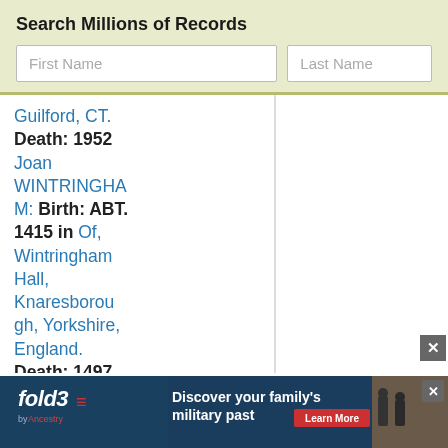Search Millions of Records
First Name | Last Name
Guilford, CT.
Death: 1952
Joan WINTRINGHAM: Birth: ABT. 1415 in Of, Wintringham Hall, Knaresborough, Yorkshire, England.
Death: 1497
Mary D. Wise: Birth: 29... 1881 in
[Figure (screenshot): Fold3 by Ancestry advertisement banner: 'Discover your family's military past' with Learn More button and historical photo]